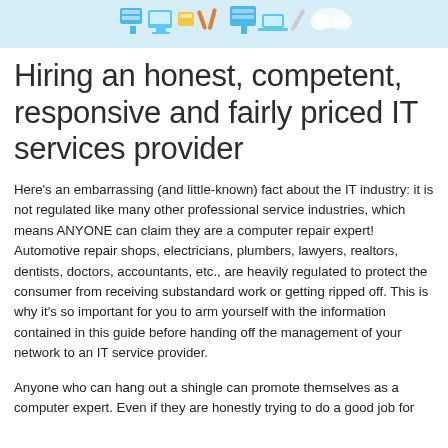[Figure (illustration): Colorful illustrated banner with IT/technology themed icons including computers, tools, and devices on a light blue background]
Hiring an honest, competent, responsive and fairly priced IT services provider
Here's an embarrassing (and little-known) fact about the IT industry: it is not regulated like many other professional service industries, which means ANYONE can claim they are a computer repair expert! Automotive repair shops, electricians, plumbers, lawyers, realtors, dentists, doctors, accountants, etc., are heavily regulated to protect the consumer from receiving substandard work or getting ripped off. This is why it's so important for you to arm yourself with the information contained in this guide before handing off the management of your network to an IT service provider.
Anyone who can hang out a shingle can promote themselves as a computer expert. Even if they are honestly trying to do a good job for